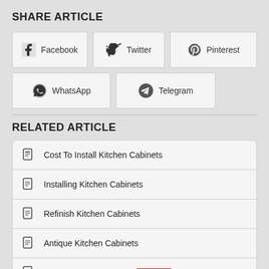SHARE ARTICLE
[Figure (other): Share buttons: Facebook, Twitter, Pinterest, WhatsApp, Telegram]
RELATED ARTICLE
Cost To Install Kitchen Cabinets
Installing Kitchen Cabinets
Refinish Kitchen Cabinets
Antique Kitchen Cabinets
Painting Old Kitchen Cabinets